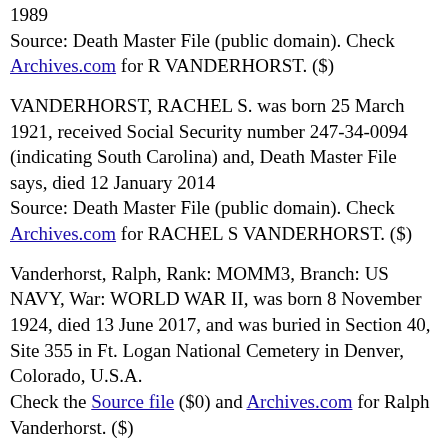1989
Source: Death Master File (public domain). Check Archives.com for R VANDERHORST. ($)
VANDERHORST, RACHEL S. was born 25 March 1921, received Social Security number 247-34-0094 (indicating South Carolina) and, Death Master File says, died 12 January 2014
Source: Death Master File (public domain). Check Archives.com for RACHEL S VANDERHORST. ($)
Vanderhorst, Ralph, Rank: MOMM3, Branch: US NAVY, War: WORLD WAR II, was born 8 November 1924, died 13 June 2017, and was buried in Section 40, Site 355 in Ft. Logan National Cemetery in Denver, Colorado, U.S.A.
Check the Source file ($0) and Archives.com for Ralph Vanderhorst. ($)
VANDERHORST, RAMON married a bride named ROYANNA FERNANDEZ in the year 1986 on license